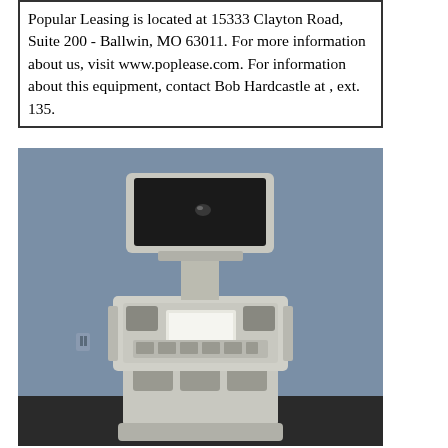Popular Leasing is located at 15333 Clayton Road, Suite 200 - Ballwin, MO 63011. For more information about us, visit www.poplease.com. For information about this equipment, contact Bob Hardcastle at , ext. 135.
[Figure (photo): Photo of a medical or diagnostic equipment unit on a wheeled cart, with a CRT monitor on top and a control console/panel below, against a blue background.]